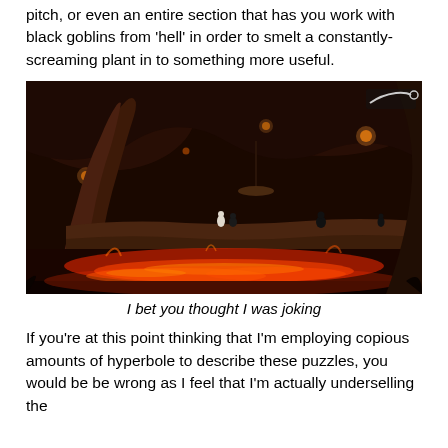pitch, or even an entire section that has you work with black goblins from 'hell' in order to smelt a constantly-screaming plant in to something more useful.
[Figure (photo): A dark fantasy game screenshot showing a hellish underground cave environment with lava, twisted organic structures, a large curved horn or tusk, rock platforms, and small character figures. The scene is lit with orange/red glowing lava below and warm amber torchlight above.]
I bet you thought I was joking
If you're at this point thinking that I'm employing copious amounts of hyperbole to describe these puzzles, you would be be wrong as I feel that I'm actually underselling the